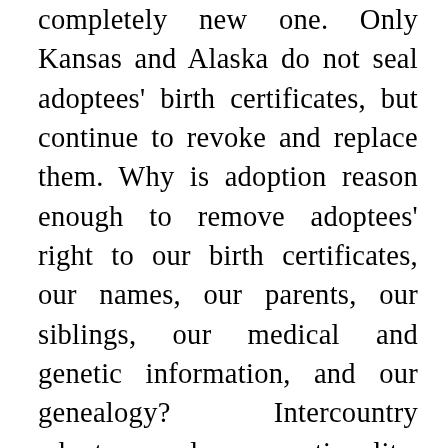completely new one. Only Kansas and Alaska do not seal adoptees' birth certificates, but continue to revoke and replace them. Why is adoption reason enough to remove adoptees' right to our birth certificates, our names, our parents, our siblings, our medical and genetic information, and our genealogy? Intercountry adoptees lose nationality, culture, and language as well.